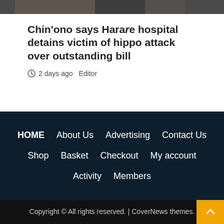[Figure (photo): Partial photo strip at top of page, dark/muted tones]
Chin'ono says Harare hospital detains victim of hippo attack over outstanding bill
2 days ago  Editor
HOME
About Us
Advertising
Contact Us
Shop
Basket
Checkout
My account
Activity
Members
Copyright © All rights reserved. | CoverNews themes.